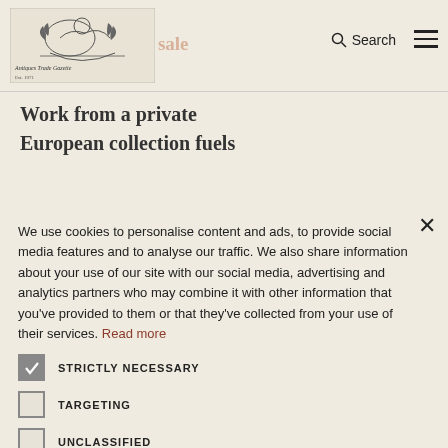Antiques Trade Gazette – Search, Hamburger menu
Work from a private European collection fuels
We use cookies to personalise content and ads, to provide social media features and to analyse our traffic. We also share information about your use of our site with our social media, advertising and analytics partners who may combine it with other information that you've provided to them or that they've collected from your use of their services. Read more
STRICTLY NECESSARY
TARGETING
UNCLASSIFIED
ACCEPT ALL
DECLINE ALL
SHOW DETAILS